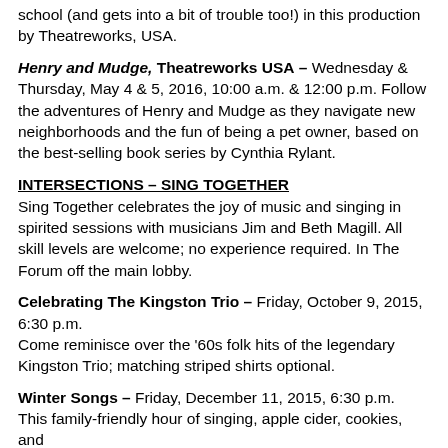school (and gets into a bit of trouble too!) in this production by Theatreworks, USA.
Henry and Mudge, Theatreworks USA – Wednesday & Thursday, May 4 & 5, 2016, 10:00 a.m. & 12:00 p.m. Follow the adventures of Henry and Mudge as they navigate new neighborhoods and the fun of being a pet owner, based on the best-selling book series by Cynthia Rylant.
INTERSECTIONS – SING TOGETHER
Sing Together celebrates the joy of music and singing in spirited sessions with musicians Jim and Beth Magill. All skill levels are welcome; no experience required. In The Forum off the main lobby.
Celebrating The Kingston Trio – Friday, October 9, 2015, 6:30 p.m. Come reminisce over the '60s folk hits of the legendary Kingston Trio; matching striped shirts optional.
Winter Songs – Friday, December 11, 2015, 6:30 p.m. This family-friendly hour of singing, apple cider, cookies, and